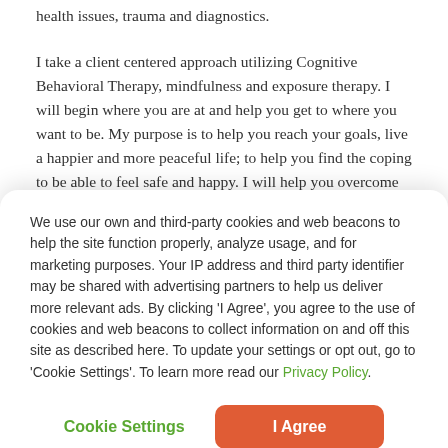health issues, trauma and diagnostics.
I take a client centered approach utilizing Cognitive Behavioral Therapy, mindfulness and exposure therapy. I will begin where you are at and help you get to where you want to be. My purpose is to help you reach your goals, live a happier and more peaceful life; to help you find the coping to be able to feel safe and happy. I will help you overcome obstacles and reach your full potential. I
We use our own and third-party cookies and web beacons to help the site function properly, analyze usage, and for marketing purposes. Your IP address and third party identifier may be shared with advertising partners to help us deliver more relevant ads. By clicking 'I Agree', you agree to the use of cookies and web beacons to collect information on and off this site as described here. To update your settings or opt out, go to 'Cookie Settings'. To learn more read our Privacy Policy.
Cookie Settings
I Agree